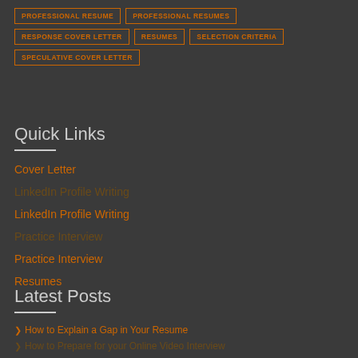PROFESSIONAL RESUME
PROFESSIONAL RESUMES
RESPONSE COVER LETTER
RESUMES
SELECTION CRITERIA
SPECULATIVE COVER LETTER
Quick Links
Cover Letter
LinkedIn Profile Writing
Practice Interview
Resumes
Latest Posts
How to Explain a Gap in Your Resume
How to Prepare for your Online Video Interview